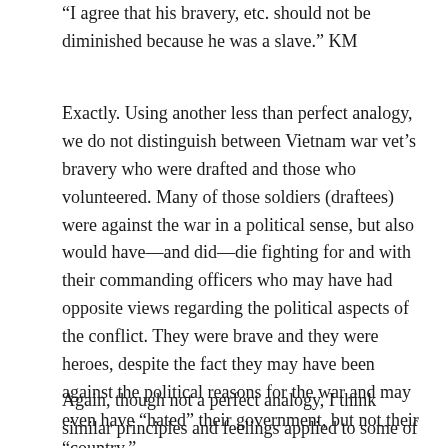“I agree that his bravery, etc. should not be diminished because he was a slave.” KM
Exactly. Using another less than perfect analogy, we do not distinguish between Vietnam war vet’s bravery who were drafted and those who volunteered. Many of those soldiers (draftees) were against the war in a political sense, but also would have—and did—die fighting for and with their commanding officers who may have had opposite views regarding the political aspects of the conflict. They were brave and they were heroes, despite the fact they may have been against the political reasons for the war and may even have “hated” their government, but not their “country.”
Again, though not a perfect analogy, I think similar principles and feelings applied to some of the black Confederate soldiers the Confederate Army. They th